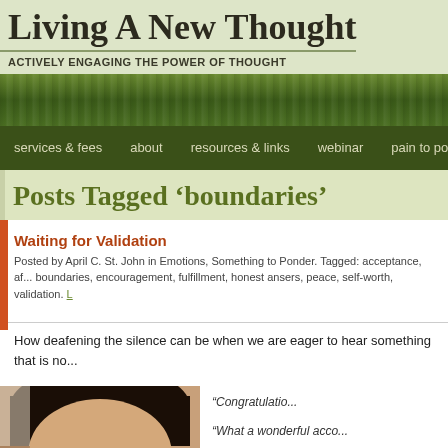Living A New Thought
ACTIVELY ENGAGING THE POWER OF THOUGHT
services & fees | about | resources & links | webinar | pain to power
Posts Tagged ‘boundaries’
Waiting for Validation
Posted by April C. St. John in Emotions, Something to Ponder. Tagged: acceptance, af... boundaries, encouragement, fulfillment, honest ansers, peace, self-worth, validation. L
How deafening the silence can be when we are eager to hear something that is no...
[Figure (photo): Close-up photo of a young woman with dark hair, forehead and eyebrow visible, looking down or to the side.]
“Congratulatio...
“What a wonderful acco...
“You are an amazing...